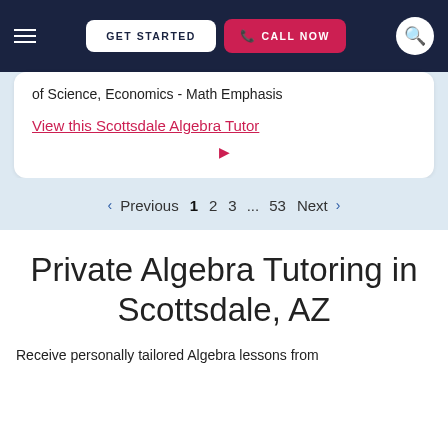GET STARTED | CALL NOW
of Science, Economics - Math Emphasis
View this Scottsdale Algebra Tutor
< Previous 1 2 3 ... 53 Next >
Private Algebra Tutoring in Scottsdale, AZ
Receive personally tailored Algebra lessons from